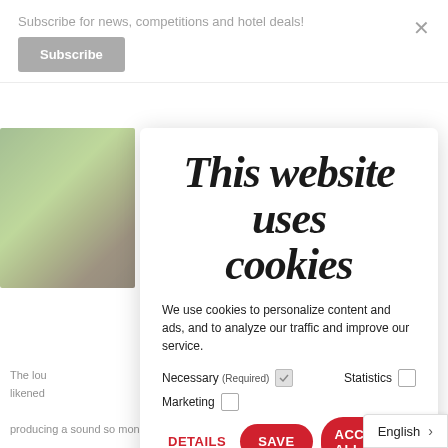Subscribe for news, competitions and hotel deals!
Subscribe
This website uses cookies
We use cookies to personalize content and ads, and to analyze our traffic and improve our service.
Necessary (Required)  ☑   Statistics  ☐
Marketing  ☐
DETAILS   SAVE   ACCEPT ALL
English  >